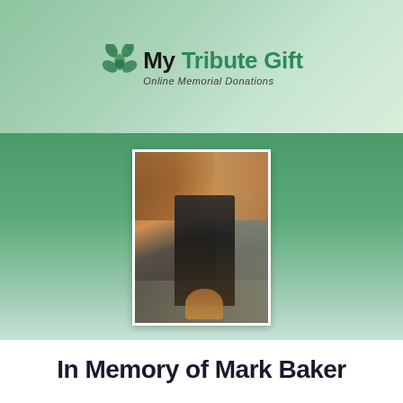[Figure (logo): My Tribute Gift - Online Memorial Donations logo with green flower/shamrock icon]
[Figure (photo): Photo of Mark Baker sitting at a bar counter in a restaurant or pub setting]
In Memory of Mark Baker
Amount
Charity
Payment